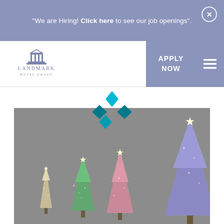"We are Hiring! Click here to see our job openings".
[Figure (logo): Landmark Hotel Group logo with classical building illustration]
APPLY NOW
[Figure (photo): Christmas illuminated trees against a grey/dark background, with colored light-covered conical tree shapes in green, pink, and purple/blue, with star toppers. A Kodi media player diamond logo overlay appears above the photo.]